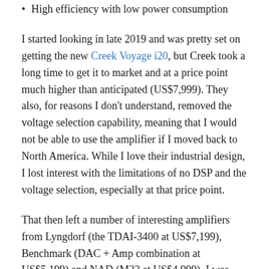High efficiency with low power consumption
I started looking in late 2019 and was pretty set on getting the new Creek Voyage i20, but Creek took a long time to get it to market and at a price point much higher than anticipated (US$7,999). They also, for reasons I don't understand, removed the voltage selection capability, meaning that I would not be able to use the amplifier if I moved back to North America. While I love their industrial design, I lost interest with the limitations of no DSP and the voltage selection, especially at that price point.
That then left a number of interesting amplifiers from Lyngdorf (the TDAI-3400 at US$7,199), Benchmark (DAC + Amp combination at US$5,199) and NAD (M33 at US$4,999). I was leaning towards the Lyngdorf, but after reading a poor review on ASR, I felt its price a bit high for amplification technology that appears to be similar to my